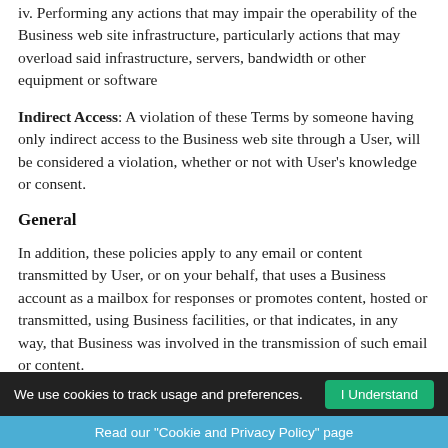iv. Performing any actions that may impair the operability of the Business web site infrastructure, particularly actions that may overload said infrastructure, servers, bandwidth or other equipment or software
Indirect Access: A violation of these Terms by someone having only indirect access to the Business web site through a User, will be considered a violation, whether or not with User's knowledge or consent.
General
In addition, these policies apply to any email or content transmitted by User, or on your behalf, that uses a Business account as a mailbox for responses or promotes content, hosted or transmitted, using Business facilities, or that indicates, in any way, that Business was involved in the transmission of such email or content.
The resale of Business products and services is not permitted, unless expressly permitted by these Terms or in a separate
We use cookies to track usage and preferences. I Understand
Read our "Cookie and Privacy Policy" page